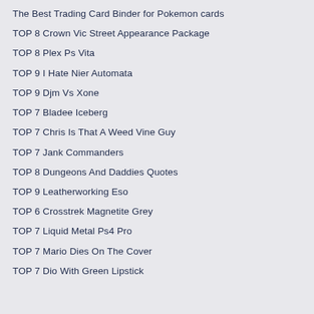The Best Trading Card Binder for Pokemon cards
TOP 8 Crown Vic Street Appearance Package
TOP 8 Plex Ps Vita
TOP 9 I Hate Nier Automata
TOP 9 Djm Vs Xone
TOP 7 Bladee Iceberg
TOP 7 Chris Is That A Weed Vine Guy
TOP 7 Jank Commanders
TOP 8 Dungeons And Daddies Quotes
TOP 9 Leatherworking Eso
TOP 6 Crosstrek Magnetite Grey
TOP 7 Liquid Metal Ps4 Pro
TOP 7 Mario Dies On The Cover
TOP 7 Dio With Green Lipstick